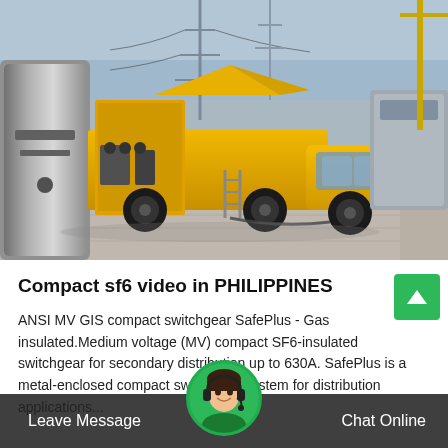[Figure (photo): Photograph of a yellow SF6 gas service truck parked at a high-voltage electrical substation with large transformers and power line structures in the Philippines. The truck is equipped with gas handling equipment on its flatbed. Large grey cylindrical tank visible on the left, crane visible on the right.]
Compact sf6 video in PHILIPPINES
ANSI MV GIS compact switchgear SafePlus - Gas insulated.Medium voltage (MV) compact SF6-insulated switchgear for secondary distribution up to 630A. SafePlus is a metal-enclosed compact switchgear system for distribution applications...
Leave Message   Chat Online